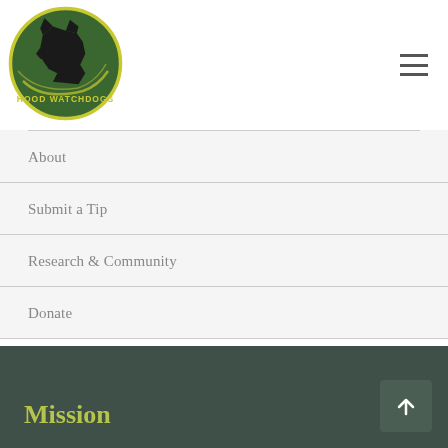[Figure (logo): Hood Watchdogs circular logo: dark green circle with yellow ring border, black dog silhouette (German Shepherd head profile), yellow text 'HOOD WATCHDOGS' at bottom]
About
Submit a Tip
Research & Community
Donate
Mission